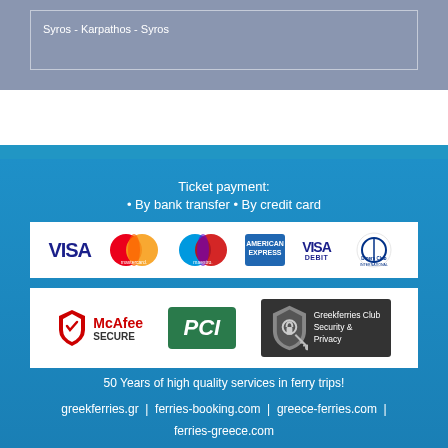Syros - Karpathos - Syros
Ticket payment:
• By bank transfer • By credit card
[Figure (other): Payment card logos: VISA, Mastercard, Maestro, American Express, VISA Debit, Diners Club International]
[Figure (other): Security badges: McAfee SECURE, PCI, Greekferries Club Security & Privacy]
50 Years of high quality services in ferry trips!
greekferries.gr | ferries-booking.com | greece-ferries.com | ferries-greece.com